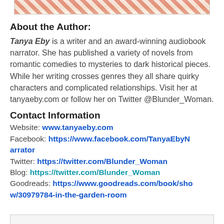[Figure (photo): Partial photo of author, cropped at top of page showing red striped clothing]
About the Author:
Tanya Eby is a writer and an award-winning audiobook narrator. She has published a variety of novels from romantic comedies to mysteries to dark historical pieces. While her writing crosses genres they all share quirky characters and complicated relationships. Visit her at tanyaeby.com or follow her on Twitter @Blunder_Woman.
Contact Information
Website: www.tanyaeby.com
Facebook: https://www.facebook.com/TanyaEbyNarrator
Twitter: https://twitter.com/Blunder_Woman
Blog: https://twitter.com/Blunder_Woman
Goodreads: https://www.goodreads.com/book/show/30979784-in-the-garden-room